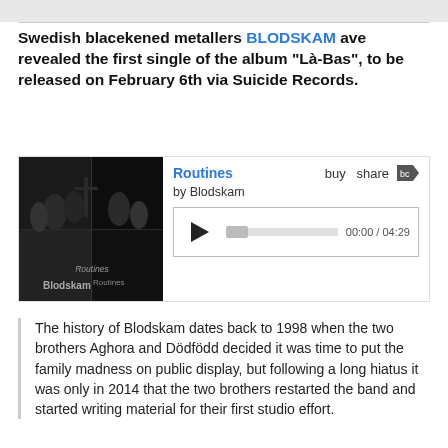Swedish blacekened metallers BLODSKAM ave revealed the first single of the album "Là-Bas", to be released on February 6th via Suicide Records.
[Figure (screenshot): Bandcamp music player embed showing album art for Blodskam 'Routines', with play button, progress bar, buy/share options, and timestamp 00:00 / 04:29]
The history of Blodskam dates back to 1998 when the two brothers Aghora and Dödfödd decided it was time to put the family madness on public display, but following a long hiatus it was only in 2014 that the two brothers restarted the band and started writing material for their first studio effort.